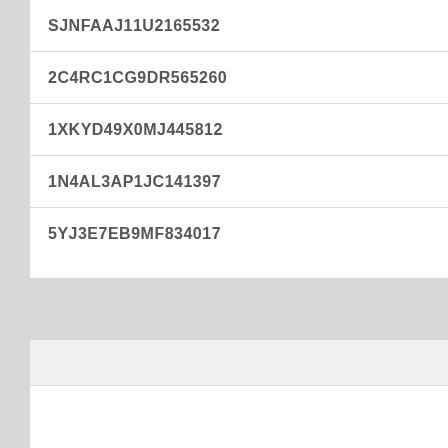| SJNFAAJ11U2165532 |
| 2C4RC1CG9DR565260 |
| 1XKYD49X0MJ445812 |
| 1N4AL3AP1JC141397 |
| 5YJ3E7EB9MF834017 |